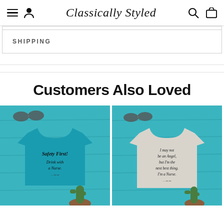Classically Styled — navigation header with menu, user, search, cart icons
SHIPPING
Customers Also Loved
[Figure (photo): Blue t-shirt with text 'Safety First! Drink with a Nurse.' on teal wooden background with sunglasses and cactus plant]
[Figure (photo): Gray t-shirt with text 'I may not be an Angel, but I'm the next best thing. I'm a Nurse.' on teal wooden background with sunglasses and cactus plant]